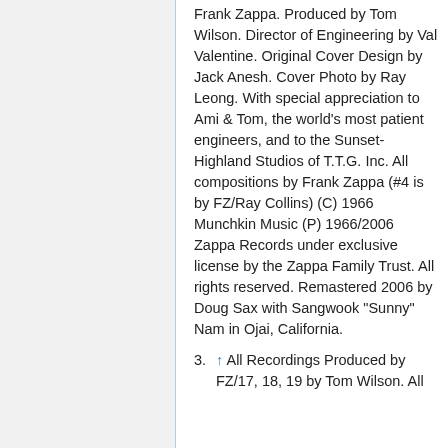Frank Zappa. Produced by Tom Wilson. Director of Engineering by Val Valentine. Original Cover Design by Jack Anesh. Cover Photo by Ray Leong. With special appreciation to Ami & Tom, the world's most patient engineers, and to the Sunset-Highland Studios of T.T.G. Inc. All compositions by Frank Zappa (#4 is by FZ/Ray Collins) (C) 1966 Munchkin Music (P) 1966/2006 Zappa Records under exclusive license by the Zappa Family Trust. All rights reserved. Remastered 2006 by Doug Sax with Sangwook "Sunny" Nam in Ojai, California.
3. ↑ All Recordings Produced by FZ/17, 18, 19 by Tom Wilson. All